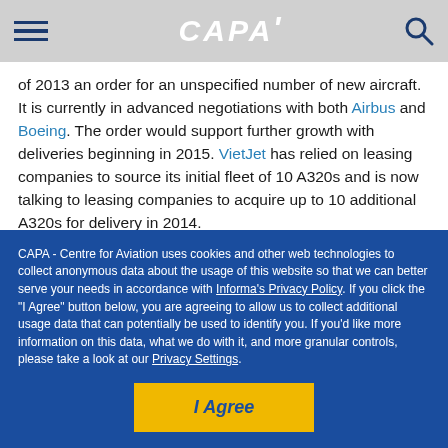CAPA
of 2013 an order for an unspecified number of new aircraft. It is currently in advanced negotiations with both Airbus and Boeing. The order would support further growth with deliveries beginning in 2015. VietJet has relied on leasing companies to source its initial fleet of 10 A320s and is now talking to leasing companies to acquire up to 10 additional A320s for delivery in 2014.
CAPA - Centre for Aviation uses cookies and other web technologies to collect anonymous data about the usage of this website so that we can better serve your needs in accordance with Informa's Privacy Policy. If you click the "I Agree" button below, you are agreeing to allow us to collect additional usage data that can potentially be used to identify you. If you'd like more information on this data, what we do with it, and more granular controls, please take a look at our Privacy Settings.